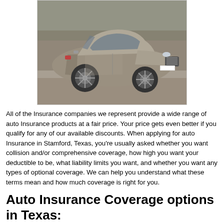[Figure (photo): A silver/grey sports car (Aston Martin style) photographed from a front-side angle, parked on a paved surface with trees in the background.]
All of the Insurance companies we represent provide a wide range of auto Insurance products at a fair price. Your price gets even better if you qualify for any of our available discounts. When applying for auto Insurance in Stamford, Texas, you're usually asked whether you want collision and/or comprehensive coverage, how high you want your deductible to be, what liability limits you want, and whether you want any types of optional coverage. We can help you understand what these terms mean and how much coverage is right for you.
Auto Insurance Coverage options in Texas:
Collision and comprehensive (other than collision) coverages